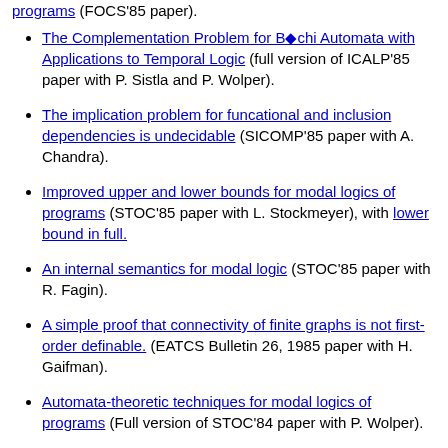programs (FOCS'85 paper).
The Complementation Problem for Büchi Automata with Applications to Temporal Logic (full version of ICALP'85 paper with P. Sistla and P. Wolper).
The implication problem for funcational and inclusion dependencies is undecidable (SICOMP'85 paper with A. Chandra).
Improved upper and lower bounds for modal logics of programs (STOC'85 paper with L. Stockmeyer), with lower bound in full.
An internal semantics for modal logic (STOC'85 paper with R. Fagin).
A simple proof that connectivity of finite graphs is not first-order definable. (EATCS Bulletin 26, 1985 paper with H. Gaifman).
Automata-theoretic techniques for modal logics of programs (Full version of STOC'84 paper with P. Wolper).
A proof procuedre for data dependencies (JACM'84 paper with C. Beeri), and an earlier draft (with a section relating...